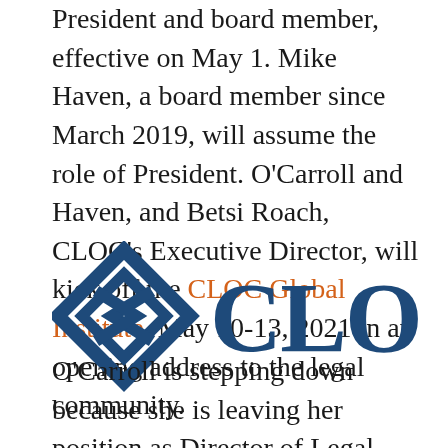President and board member, effective on May 1. Mike Haven, a board member since March 2019, will assume the role of President. O'Carroll and Haven, and Betsi Roach, CLOC's Executive Director, will kick off the CLOC Global Institute, May 10-13, 2021 in an opening address to the legal community.
[Figure (logo): CLOC logo with diamond/chevron geometric icon on the left and the text CLOC in large dark blue serif letters on the right]
O'Carroll is stepping down because she is leaving her position as Director of Legal Operations at Google to pursue an